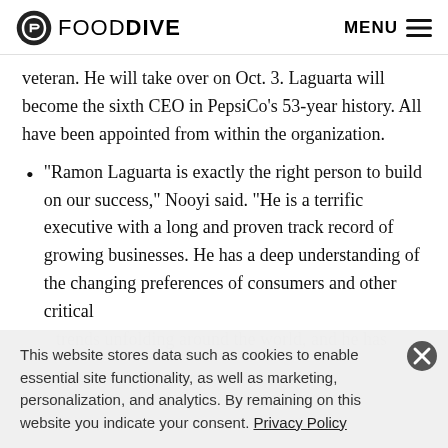FOOD DIVE   MENU
veteran. He will take over on Oct. 3. Laguarta will become the sixth CEO in PepsiCo’s 53-year history. All have been appointed from within the organization.
“Ramon Laguarta is exactly the right person to build on our success,” Nooyi said. “He is a terrific executive with a long and proven track record of growing businesses. He has a deep understanding of the changing preferences of consumers and other critical trends unfolding around the world, and he has
This website stores data such as cookies to enable essential site functionality, as well as marketing, personalization, and analytics. By remaining on this website you indicate your consent. Privacy Policy